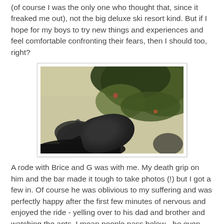(of course I was the only one who thought that, since it freaked me out), not the big deluxe ski resort kind. But if I hope for my boys to try new things and experiences and feel comfortable confronting their fears, then I should too, right?
[Figure (photo): A photo taken from a high vantage point looking down, showing a shoe/boot hanging over a drop, with trees (green foliage) and people below visible at a distance, giving a vertigo effect.]
A rode with Brice and G was with me. My death grip on him and the bar made it tough to take photos (!) but I got a few in. Of course he was oblivious to my suffering and was perfectly happy after the first few minutes of nervous and enjoyed the ride - yelling over to his dad and brother and watching the ants, I mean people pass below - he even pranced off when we were done.